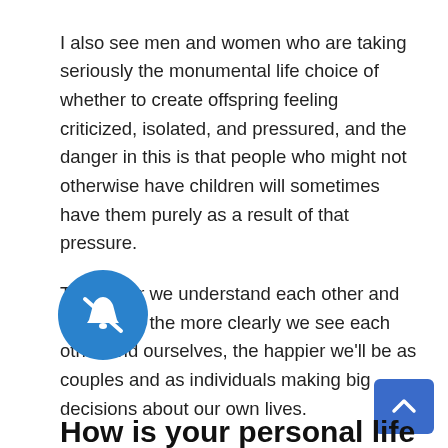I also see men and women who are taking seriously the monumental life choice of whether to create offspring feeling criticized, isolated, and pressured, and the danger in this is that people who might not otherwise have children will sometimes have them purely as a result of that pressure.
The better we understand each other and ourselves, the more clearly we see each other and ourselves, the happier we'll be as couples and as individuals making big decisions about our own lives.
[Figure (illustration): Blue circular notification bell icon with a crossed-out bell symbol (mute/unsubscribe button)]
[Figure (illustration): Blue rounded rectangle scroll-to-top button with an upward arrow chevron]
How is your personal life